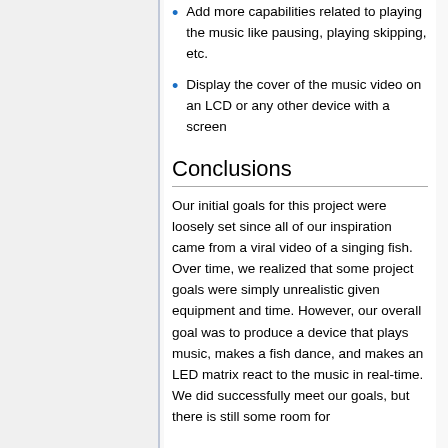Add more capabilities related to playing the music like pausing, playing skipping, etc.
Display the cover of the music video on an LCD or any other device with a screen
Conclusions
Our initial goals for this project were loosely set since all of our inspiration came from a viral video of a singing fish. Over time, we realized that some project goals were simply unrealistic given equipment and time. However, our overall goal was to produce a device that plays music, makes a fish dance, and makes an LED matrix react to the music in real-time. We did successfully meet our goals, but there is still some room for